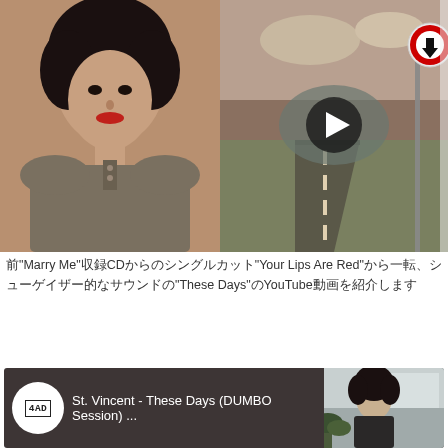[Figure (photo): Top split image: left side shows a woman with curly dark hair and red lips wearing a brownish top, right side shows a YouTube video thumbnail with a desert road landscape and a play button, with a traffic sign in upper right corner]
前"Marry Me"収録CDからのシングルカット"Your Lips Are Red"から一転、シューゲイザー的なサウンドの"These Days"のYouTube動画を紹介します
[Figure (screenshot): YouTube video embed showing St. Vincent - These Days (DUMBO Session) with 4AD logo circle on left and video thumbnail on right showing a woman with dark hair]